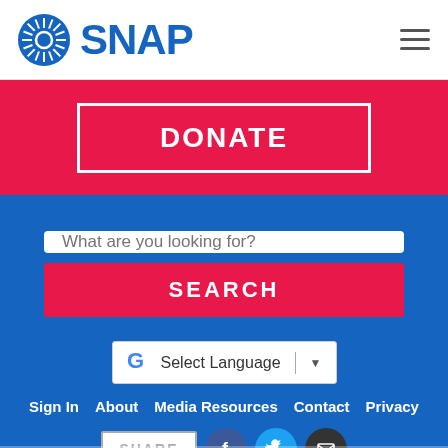SNAP
DONATE
What are you looking for?
SEARCH
Select Language
Sign In  About  Media Resources  Contact  Privacy
SHARE